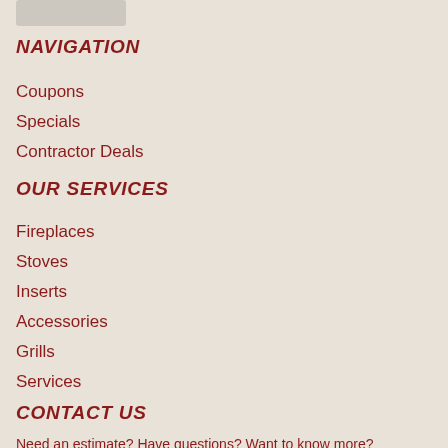[Figure (logo): Partially visible logo/button at top left]
NAVIGATION
Coupons
Specials
Contractor Deals
OUR SERVICES
Fireplaces
Stoves
Inserts
Accessories
Grills
Services
CONTACT US
Need an estimate? Have questions? Want to know more?